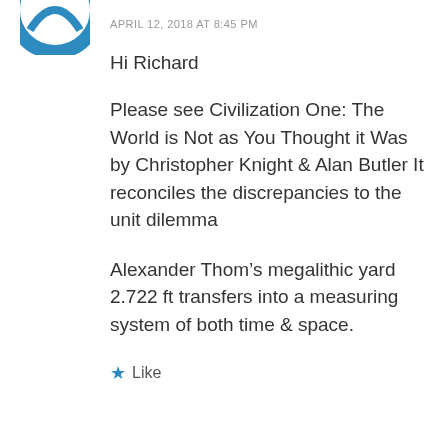[Figure (logo): Partial blue circular logo/avatar icon visible at top left]
APRIL 12, 2018 AT 8:45 PM
Hi Richard
Please see Civilization One: The World is Not as You Thought it Was by Christopher Knight & Alan Butler It reconciles the discrepancies to the unit dilemma
Alexander Thom’s megalithic yard 2.722 ft transfers into a measuring system of both time & space.
★ Like